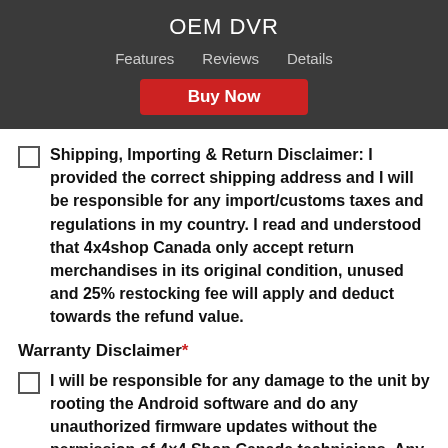OEM DVR
Features   Reviews   Details   Buy Now
Shipping, Importing & Return Disclaimer: I provided the correct shipping address and I will be responsible for any import/customs taxes and regulations in my country. I read and understood that 4x4shop Canada only accept return merchandises in its original condition, unused and 25% restocking fee will apply and deduct towards the refund value.
Warranty Disclaimer*
I will be responsible for any damage to the unit by rooting the Android software and do any unauthorized firmware updates without the permission of 4×4 Shop Canada technicians. Any of these actions will void the